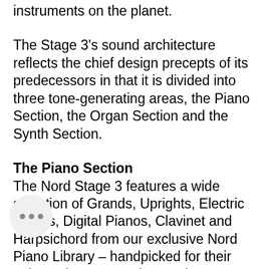instruments on the planet.
The Stage 3's sound architecture reflects the chief design precepts of its predecessors in that it is divided into three tone-generating areas, the Piano Section, the Organ Section and the Synth Section.
The Piano Section
The Nord Stage 3 features a wide selection of Grands, Uprights, Electric Pianos, Digital Pianos, Clavinet and Harpsichord from our exclusive Nord Piano Library – handpicked for their unique characters! The Nord Stage 3 Piano section also features a